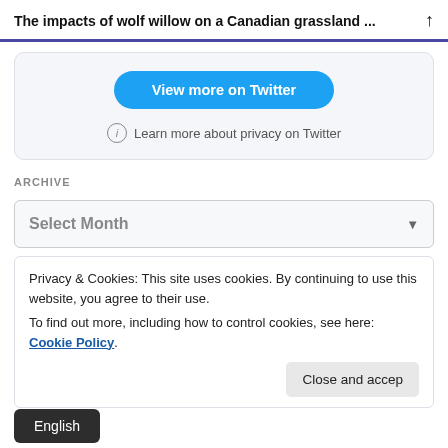The impacts of wolf willow on a Canadian grassland … ↑
[Figure (screenshot): Twitter embed card with 'View more on Twitter' button and privacy info link]
ARCHIVE
Select Month
Privacy & Cookies: This site uses cookies. By continuing to use this website, you agree to their use. To find out more, including how to control cookies, see here: Cookie Policy.
Close and accep
English